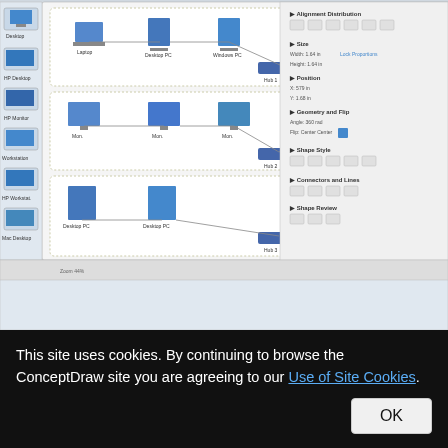[Figure (screenshot): ConceptDraw Network Diagramming Software interface showing a network diagram with computers, laptops, servers, switches, printers, and a properties panel on the right side. The diagram shows multiple LAN segments with desktop PCs, workstations, and HP devices connected through switches.]
ConceptDraw Network Diagramming Software with examples of WAN, LAN Diagrams. ConceptDraw Network Diagram is ideal for network engineers and network
This site uses cookies. By continuing to browse the ConceptDraw site you are agreeing to our Use of Site Cookies.